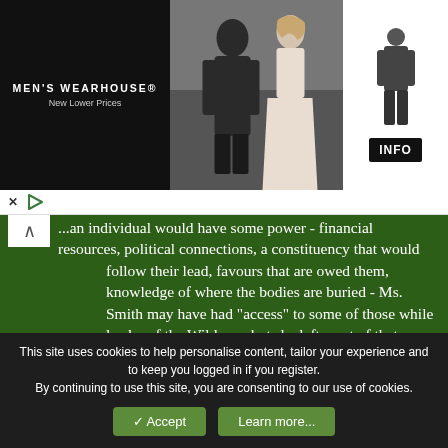[Figure (photo): Men's Wearhouse advertisement banner showing a couple in formal wear and a man in a suit on the right side with an INFO button]
...an individual would have some power - financial resources, political connections, a constituency that would follow their lead, favours that are owed them, knowledge of where the bodies are buried - Ms. Smith may have had "access" to some of those while leader of the Wildrose, but she left most of that behind when she crossed the floor. Her political capital now is barely pocket change. To the hardcore of the Wildrose (the social conservatives) she is a traitor, not that she, as primarily a fiscal conservative, was their darling before. While the governing Progressive Conservatives may have accepted her and her fellow travellers when they crossed, they didn't need them, thus no favours were forthcoming as seen in not getting the PC nomination. Will she have to resort to flipping burgers to
This site uses cookies to help personalise content, tailor your experience and to keep you logged in if you register.
By continuing to use this site, you are consenting to our use of cookies.